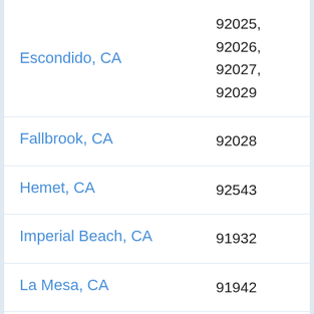| City | ZIP Codes |
| --- | --- |
| Escondido, CA | 92025, 92026, 92027, 92029 |
| Fallbrook, CA | 92028 |
| Hemet, CA | 92543 |
| Imperial Beach, CA | 91932 |
| La Mesa, CA | 91942 |
| Lemon Grove, CA | 91945 |